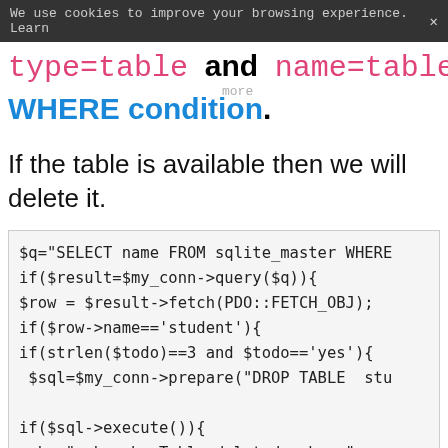We use cookies to improve your browsing experience. Learn more ×
type=table and name=table_name by using WHERE condition.
If the table is available then we will delete it.
$q="SELECT name FROM sqlite_master WHERE
if($result=$my_conn->query($q)){
$row = $result->fetch(PDO::FETCH_OBJ);
if($row->name=='student'){
if(strlen($todo)==3 and $todo=='yes'){
  $sql=$my_conn->prepare("DROP TABLE stu

if($sql->execute()){
echo " <br><br>Table deleted. <br> ";